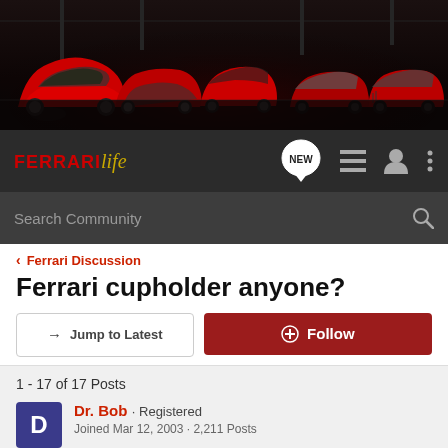[Figure (photo): Hero banner showing multiple red Ferrari cars parked in a row, dark dramatic background]
FERRARI life — navigation bar with NEW, list, user, and menu icons, and Search Community search bar
< Ferrari Discussion
Ferrari cupholder anyone?
→ Jump to Latest   ⊕ Follow
1 - 17 of 17 Posts
Dr. Bob · Registered
Joined Mar 12, 2003 · 2,211 Posts